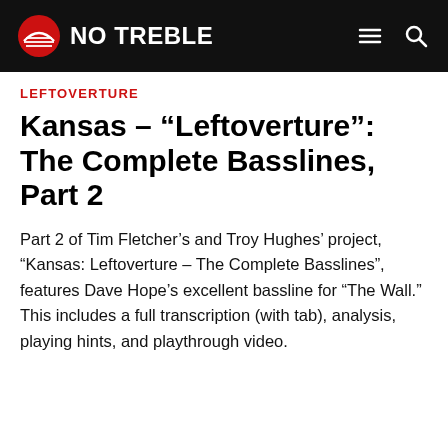NO TREBLE
LEFTOVERTURE
Kansas – “Leftoverture”: The Complete Basslines, Part 2
Part 2 of Tim Fletcher’s and Troy Hughes’ project, “Kansas: Leftoverture – The Complete Basslines”, features Dave Hope’s excellent bassline for “The Wall.” This includes a full transcription (with tab), analysis, playing hints, and playthrough video.